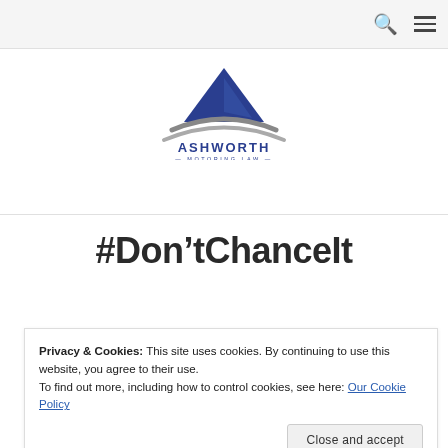Navigation bar with search and menu icons
[Figure (logo): Ashworth Motoring Law logo with blue triangle/mountain shape and swoosh lines, text reads ASHWORTH MOTORING LAW - Driving Offence Experts]
#Don'tChanceIt
Privacy & Cookies: This site uses cookies. By continuing to use this website, you agree to their use. To find out more, including how to control cookies, see here: Our Cookie Policy Close and accept